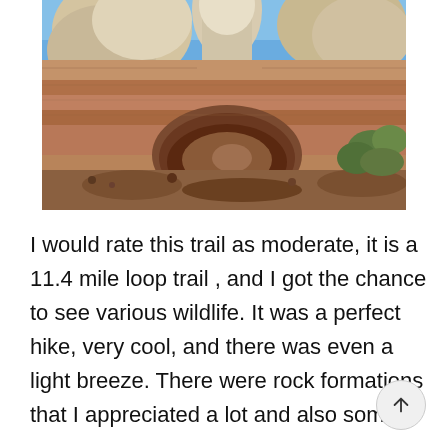[Figure (photo): Photograph of red sandstone rock formations with a cave-like arch opening in the center, white/cream rock formations at top, blue sky background, and some green desert shrubs on the right side.]
I would rate this trail as moderate, it is a 11.4 mile loop trail , and I got the chance to see various wildlife. It was a perfect hike, very cool, and there was even a light breeze. There were rock formations that I appreciated a lot and also some